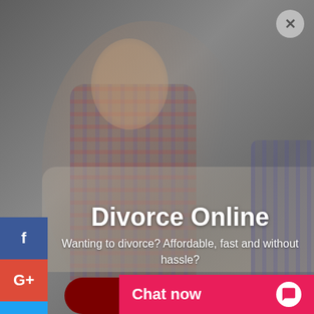[Figure (photo): Background photo of a distressed man sitting on a couch with head down, wearing a plaid shirt, with a woman partially visible on the right. Gray overlay tint applied. Social media icons on the left sidebar (Facebook, Google+, Twitter, LinkedIn, Tumblr). Close button top right.]
Divorce Online
Wanting to divorce? Affordable, fast and without hassle?
Click here
Chat now